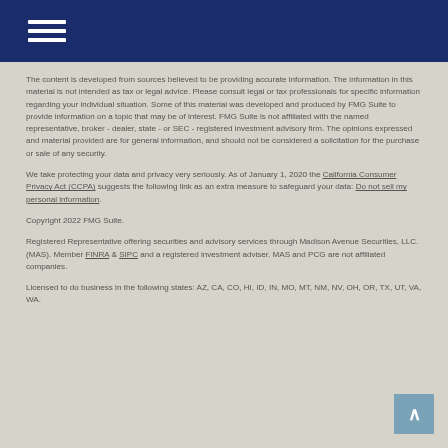[hamburger menu icon]
The content is developed from sources believed to be providing accurate information. The information in this material is not intended as tax or legal advice. Please consult legal or tax professionals for specific information regarding your individual situation. Some of this material was developed and produced by FMG Suite to provide information on a topic that may be of interest. FMG Suite is not affiliated with the named representative, broker - dealer, state - or SEC - registered investment advisory firm. The opinions expressed and material provided are for general information, and should not be considered a solicitation for the purchase or sale of any security.
We take protecting your data and privacy very seriously. As of January 1, 2020 the California Consumer Privacy Act (CCPA) suggests the following link as an extra measure to safeguard your data: Do not sell my personal information.
Copyright 2022 FMG Suite.
Registered Representative offering securities and advisory services through Madison Avenue Securities, LLC. (MAS). Member FINRA & SIPC and a registered investment adviser. MAS and PCG are not affiliated companies.
Licensed to do business in the following states: AZ, CA, CO, HI, ID, IN, MO, MT, NM, NV, OH, OR, TX, UT, VA, WA.